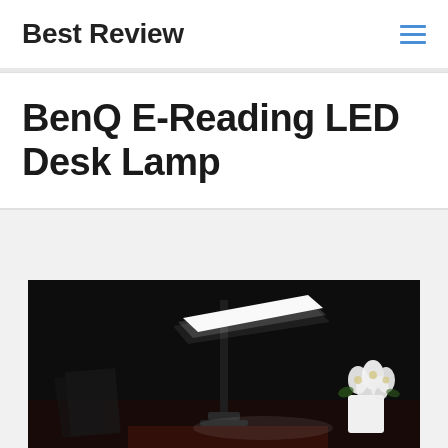Best Review
BenQ E-Reading LED Desk Lamp
[Figure (photo): Photo of a BenQ E-Reading LED Desk Lamp glowing in a dark room on a desk, with white flowers in a pot visible on the right side]